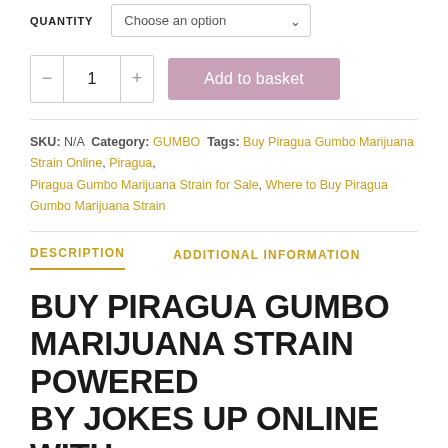QUANTITY   Choose an option
- 1 +   Add to basket
SKU: N/A  Category: GUMBO  Tags: Buy Piragua Gumbo Marijuana Strain Online, Piragua, Piragua Gumbo Marijuana Strain for Sale, Where to Buy Piragua Gumbo Marijuana Strain
DESCRIPTION
ADDITIONAL INFORMATION
BUY PIRAGUA GUMBO MARIJUANA STRAIN POWERED BY JOKES UP ONLINE WITH 100% GUARANTEED DELIVERY